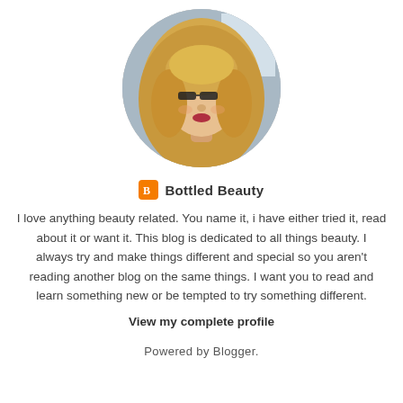[Figure (photo): Circular profile photo of a blonde woman wearing glasses]
Bottled Beauty
I love anything beauty related. You name it, i have either tried it, read about it or want it. This blog is dedicated to all things beauty. I always try and make things different and special so you aren't reading another blog on the same things. I want you to read and learn something new or be tempted to try something different.
View my complete profile
Powered by Blogger.